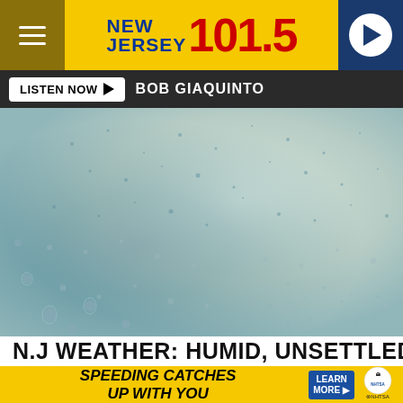[Figure (logo): New Jersey 101.5 radio station header with hamburger menu, yellow background logo, and navy play button]
LISTEN NOW ▶  BOB GIAQUINTO
[Figure (photo): Close-up photo of rain drops on a glass surface, blue-green tones]
N.J WEATHER: HUMID, UNSETTLED
[Figure (infographic): Advertisement banner: SPEEDING CATCHES UP WITH YOU - LEARN MORE with NHTSA logo]